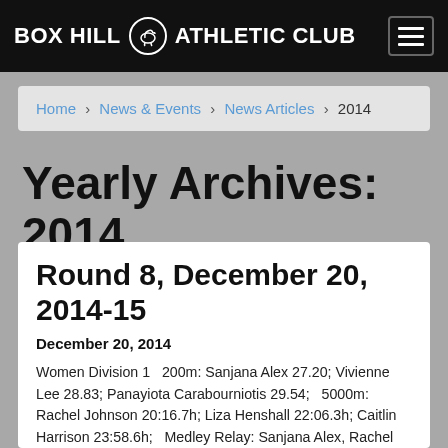BOX HILL ATHLETIC CLUB
Home > News & Events > News Articles > 2014
Yearly Archives: 2014
Round 8, December 20, 2014-15
December 20, 2014
Women Division 1   200m: Sanjana Alex 27.20; Vivienne Lee 28.83; Panayiota Carabourniotis 29.54;   5000m: Rachel Johnson 20:16.7h; Liza Henshall 22:06.3h; Caitlin Harrison 23:58.6h;   Medley Relay: Sanjana Alex, Rachel Johnson, Angela Phillips, Vivienne Lee 4:47.4h;   3000m Walk: Chelsea Dyer 17:53.3h;   High Jump: Panayiota